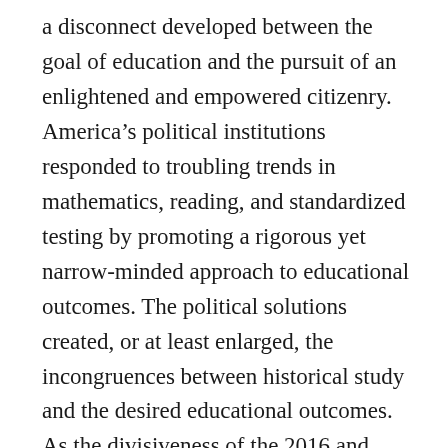a disconnect developed between the goal of education and the pursuit of an enlightened and empowered citizenry.  America's political institutions responded to troubling trends in mathematics, reading, and standardized testing by promoting a rigorous yet narrow-minded approach to educational outcomes.  The political solutions created, or at least enlarged, the incongruences between historical study and the desired educational outcomes.  As the divisiveness of the 2016 and 2020 elections illustrated, American society needs a knowledgeable body of citizens to withstand the overt negativity, especially in regards to the media.  As an educator, I began to notice that students' disengagement from history often involved its foreign nature.  It is often repeated that the past is a foreign country and for many students this trope is all too accurate. Consequently, I connect local history with the